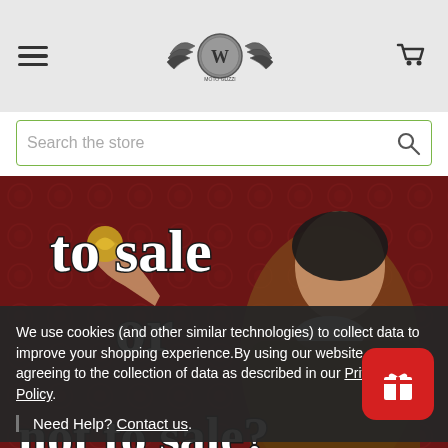Navigation header with hamburger menu, winged logo, and cart icon
Search the store
[Figure (illustration): Promotional banner image featuring a Shakespeare-like figure in Renaissance clothing holding a golden object, on a dark red background with text reading 'to sale or not to sale?' in gothic/blackletter style white font]
We use cookies (and other similar technologies) to collect data to improve your shopping experience.By using our website, you're agreeing to the collection of data as described in our Privacy Policy.
Need Help? Contact us.